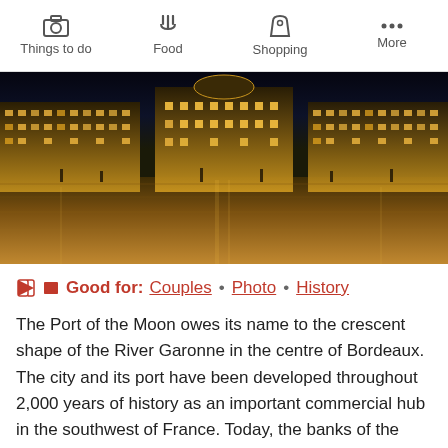Things to do  Food  Shopping  More
[Figure (photo): Night photo of Place de la Bourse in Bordeaux, illuminated classical buildings reflected on wet cobblestone square]
Good for: Couples • Photo • History
The Port of the Moon owes its name to the crescent shape of the River Garonne in the centre of Bordeaux. The city and its port have been developed throughout 2,000 years of history as an important commercial hub in the southwest of France. Today, the banks of the river host many historical buildings and landmarks, such as the Place de la Bourse. They offer you the opportunity to enjoy pleasant